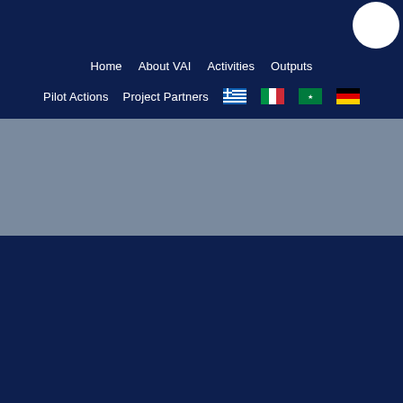Home | About VAI | Activities | Outputs | Pilot Actions | Project Partners
[Figure (screenshot): Website navigation header with dark navy background, white circular logo in top right, navigation menu items in white text (Home, About VAI, Activities, Outputs, Pilot Actions, Project Partners, and flag icons for Greek, Italian, Arabic, German languages), followed by a gray banner section and dark navy footer area]